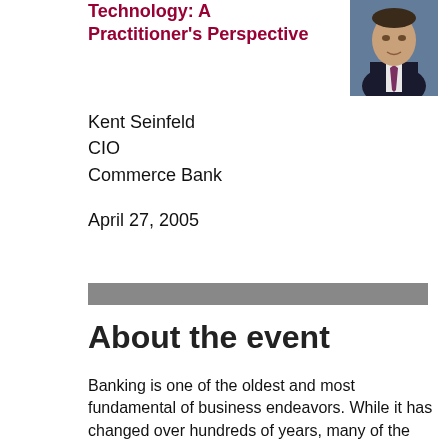Technology: A Practitioner's Perspective
[Figure (photo): Headshot photo of Kent Seinfeld, a man in a dark suit and tie, with a blue background]
Kent Seinfeld
CIO
Commerce Bank
April 27, 2005
About the event
Banking is one of the oldest and most fundamental of business endeavors.  While it has changed over hundreds of years, many of the